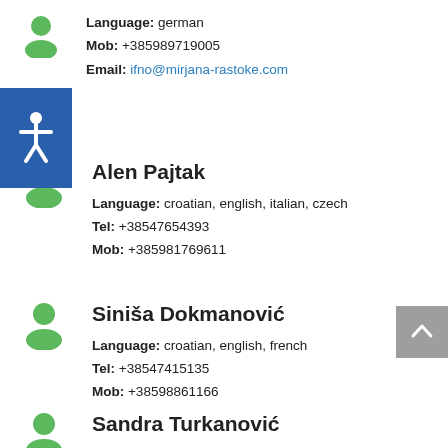Language: german | Mob: +385989719005 | Email: ifno@mirjana-rastoke.com
Alen Pajtak | Language: croatian, english, italian, czech | Tel: +38547654393 | Mob: +385981769611
Siniša Dokmanović | Language: croatian, english, french | Tel: +38547415135 | Mob: +38598861166
Sandra Turkanović